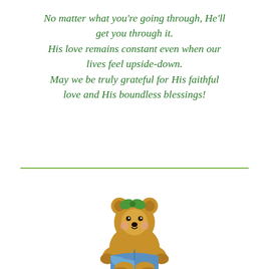No matter what you're going through, He'll get you through it. His love remains constant even when our lives feel upside-down. May we be truly grateful for His faithful love and His boundless blessings!
[Figure (illustration): A row of white daisy flowers with yellow centers and green stems, with small yellow butterflies hovering above them.]
[Figure (illustration): A cute cartoon teddy bear with a green bow on its head, reading an open blue book.]
Books